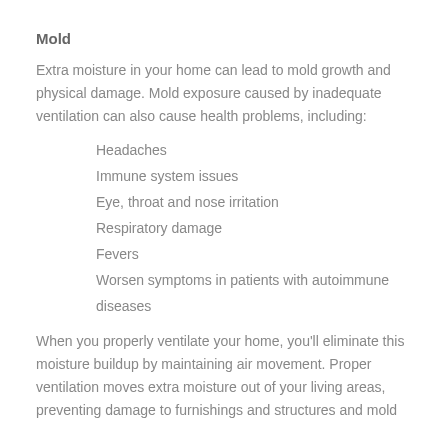Mold
Extra moisture in your home can lead to mold growth and physical damage. Mold exposure caused by inadequate ventilation can also cause health problems, including:
Headaches
Immune system issues
Eye, throat and nose irritation
Respiratory damage
Fevers
Worsen symptoms in patients with autoimmune diseases
When you properly ventilate your home, you'll eliminate this moisture buildup by maintaining air movement. Proper ventilation moves extra moisture out of your living areas, preventing damage to furnishings and structures and mold